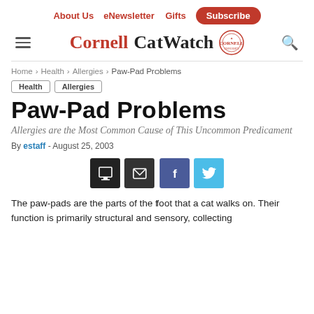About Us  eNewsletter  Gifts  Subscribe
[Figure (logo): Cornell CatWatch logo with Cornell seal, hamburger menu icon, and search icon]
Home › Health › Allergies › Paw-Pad Problems
Health   Allergies
Paw-Pad Problems
Allergies are the Most Common Cause of This Uncommon Predicament
By estaff - August 25, 2003
[Figure (infographic): Social sharing buttons: print, email, Facebook, Twitter]
The paw-pads are the parts of the foot that a cat walks on. Their function is primarily structural and sensory, collecting